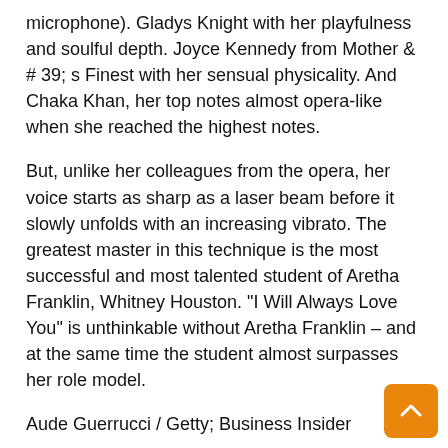microphone). Gladys Knight with her playfulness and soulful depth. Joyce Kennedy from Mother & # 39; s Finest with her sensual physicality. And Chaka Khan, her top notes almost opera-like when she reached the highest notes.
But, unlike her colleagues from the opera, her voice starts as sharp as a laser beam before it slowly unfolds with an increasing vibrato. The greatest master in this technique is the most successful and most talented student of Aretha Franklin, Whitney Houston. "I Will Always Love You" is unthinkable without Aretha Franklin – and at the same time the student almost surpasses her role model.
Aude Guerrucci / Getty; Business Insider
But the younger generation of Soul singers also owes a lot to Aretha Franklin. Amy Winehouse as much as the early Beyoncé (the later Beyoncé, who almost came across as an avatar on her recent German tour, lacks a comparison). Jill Scott as much as Erykah Badu. And even the generation younger than those, such as Dua Lipa, Joss Stone or Janelle Monaé, get inspiration from